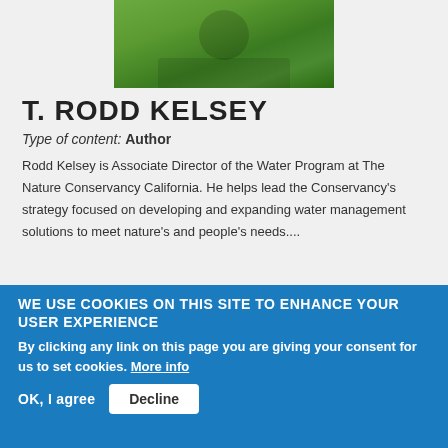[Figure (photo): Photo of T. Rodd Kelsey wearing a green jacket outdoors with camera strap visible]
T. RODD KELSEY
Type of content: Author
Rodd Kelsey is Associate Director of the Water Program at The Nature Conservancy California. He helps lead the Conservancy's strategy focused on developing and expanding water management solutions to meet nature's and people's needs....
WE USE COOKIES ON THIS SITE TO ENHANCE YOUR USER EXPERIENCE
By clicking any link on this page you are giving your consent for us to set cookies. More info
OK, I agree  Decline